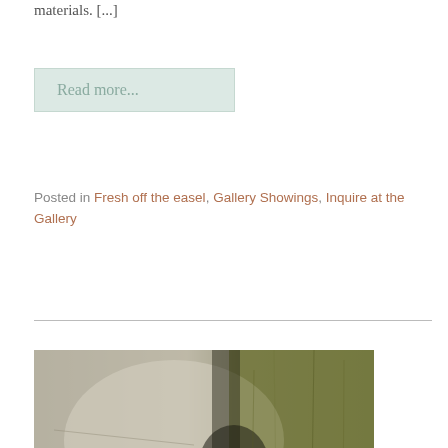materials. [...]
Read more...
Posted in Fresh off the easel, Gallery Showings, Inquire at the Gallery
[Figure (photo): Abstract textured painting with grey and olive-green tones, heavily textured surface with layered paint and scratched marks, vertical composition.]